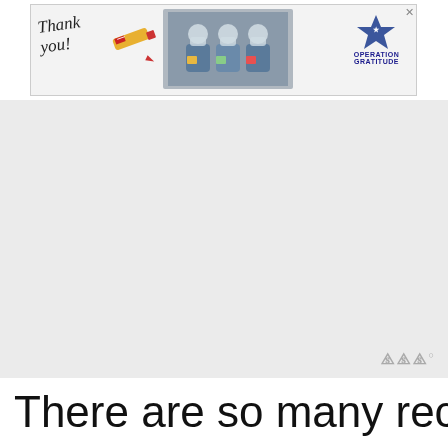[Figure (other): Top advertisement banner: 'Thank you!' text with pencil graphic, photo of medical workers in masks holding cards, and Operation Gratitude logo with American flag star graphic. Close button X in top right.]
[Figure (other): Gray advertisement placeholder area in middle of page with Wunderkind/wordmark logo in bottom right corner.]
There are so many recipes for borscht out there that I don't think you will ever find the traditional version. Eve country makes it differently; every family adds their own twist to r...
[Figure (infographic): Social sidebar: heart/like button (teal circle) with 1.5K count, share button. 'What's Next' widget showing 'Instant Pot Turkey Stock' with thumbnail.]
[Figure (other): Bottom advertisement banner: orange background, text 'You can help hungry kids.' with No Kid Hungry logo and 'LEARN HOW' button. Close X button.]
So ... (partially visible, faded) ... d).